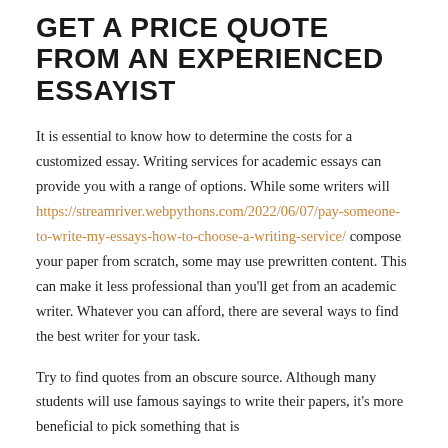GET A PRICE QUOTE FROM AN EXPERIENCED ESSAYIST
It is essential to know how to determine the costs for a customized essay. Writing services for academic essays can provide you with a range of options. While some writers will https://streamriver.webpythons.com/2022/06/07/pay-someone-to-write-my-essays-how-to-choose-a-writing-service/ compose your paper from scratch, some may use prewritten content. This can make it less professional than you'll get from an academic writer. Whatever you can afford, there are several ways to find the best writer for your task.
Try to find quotes from an obscure source. Although many students will use famous sayings to write their papers, it's more beneficial to pick something that is